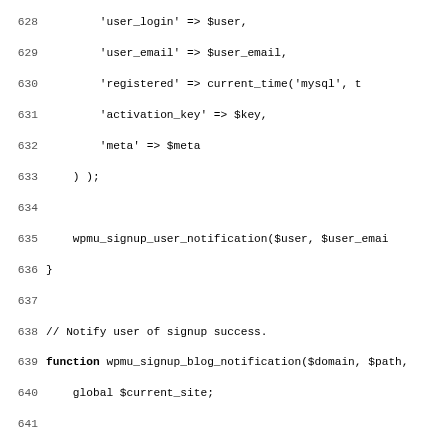[Figure (screenshot): Source code screenshot showing PHP lines 628-659 of a WordPress multisite signup notification function (wpmu_signup_blog_notification). Lines include array entries for user_login, user_email, registered, activation_key, meta, a closing bracket, a call to wpmu_signup_user_notification, a comment '// Notify user of signup success.', function declaration, global $current_site, apply_filters call, return false, comment about sending email with activation link, conditional for subdomain install, $activate_url assignments, esc_url call, $admin_email, $from_name, $message_headers, $message, TODO comment, and $subject.]